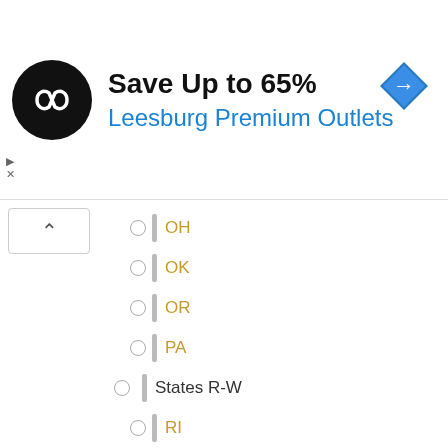[Figure (infographic): Advertisement banner: black circular logo with infinity/arrows icon, text 'Save Up to 65%' in bold black, 'Leesburg Premium Outlets' in blue, blue diamond navigation icon on the right, small ad close/info icons on the left.]
OH
OK
OR
PA
States R-W
RI
SC
SD
TN
TX
UT
VA
VT
WA